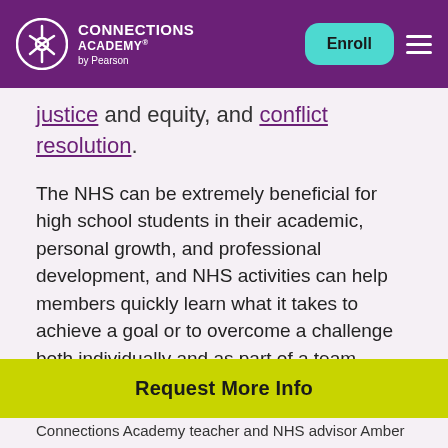Connections Academy by Pearson — Enroll
justice and equity, and conflict resolution.
The NHS can be extremely beneficial for high school students in their academic, personal growth, and professional development, and NHS activities can help members quickly learn what it takes to achieve a goal or to overcome a challenge both individually and as part of a team.
What Do You Do in the National Honor Society?
Request More Info
Connections Academy teacher and NHS advisor Amber